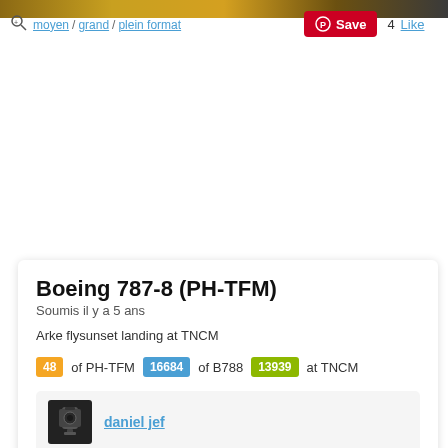[Figure (photo): Top strip of a sunset/landscape photo partially visible at top of page]
moyen / grand / plein format
Save  4  Like
Boeing 787-8 (PH-TFM)
Soumis il y a 5 ans
Arke flysunset landing at TNCM
48 of PH-TFM  16684 of B788  13939 at TNCM
daniel jef